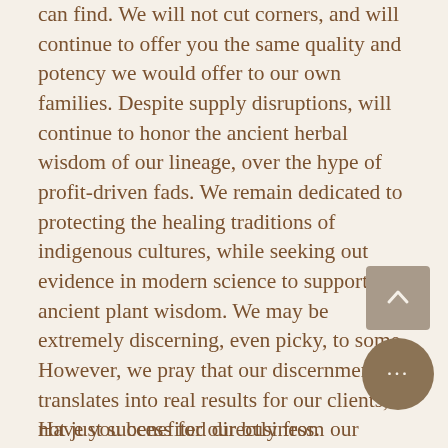can find. We will not cut corners, and will continue to offer you the same quality and potency we would offer to our own families. Despite supply disruptions, will continue to honor the ancient herbal wisdom of our lineage, over the hype of profit-driven fads. We remain dedicated to protecting the healing traditions of indigenous cultures, while seeking out evidence in modern science to support this ancient plant wisdom. We may be extremely discerning, even picky, to some. However, we pray that our discernment translates into real results for our clients, not just success for our business.
Have you benefited directly from our